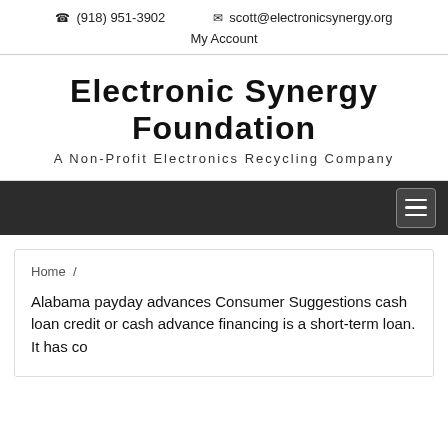(918) 951-3902   scott@electronicsynergy.org   My Account
Electronic Synergy Foundation
A Non-Profit Electronics Recycling Company
Home /
Alabama payday advances Consumer Suggestions cash loan credit or cash advance financing is a short-term loan. It has co